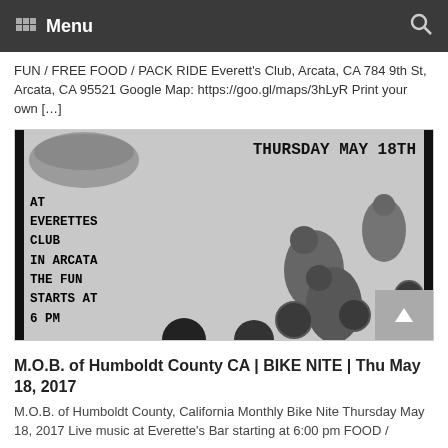Menu
FUN / FREE FOOD / PACK RIDE Everett's Club, Arcata, CA 784 9th St, Arcata, CA 95521 Google Map: https://goo.gl/maps/3hLyR Print your own […]
[Figure (photo): Black and white flyer for a bike night event. Text reads: THURSDAY MAY 18th AT EVERETTES CLUB IN ARCATA THE FUN STARTS AT 6 PM. Background shows a group of motorcyclists riding.]
M.O.B. of Humboldt County CA | BIKE NITE | Thu May 18, 2017
M.O.B. of Humboldt County, California Monthly Bike Nite Thursday May 18, 2017 Live music at Everette's Bar starting at 6:00 pm FOOD /